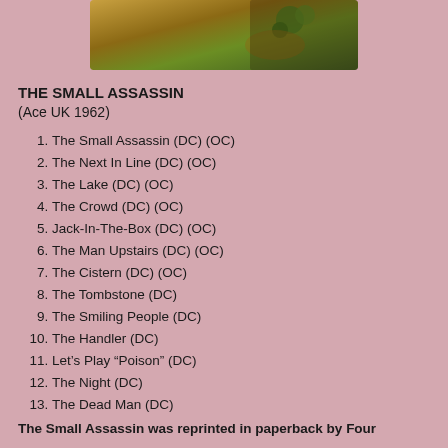[Figure (photo): Partial book cover image showing decorative illustration with green and gold elements on dark background]
THE SMALL ASSASSIN
(Ace UK 1962)
1. The Small Assassin (DC) (OC)
2. The Next In Line (DC) (OC)
3. The Lake (DC) (OC)
4. The Crowd (DC) (OC)
5. Jack-In-The-Box (DC) (OC)
6. The Man Upstairs (DC) (OC)
7. The Cistern (DC) (OC)
8. The Tombstone (DC)
9. The Smiling People (DC)
10. The Handler (DC)
11. Let’s Play “Poison” (DC)
12. The Night (DC)
13. The Dead Man (DC)
The Small Assassin was reprinted in paperback by Four